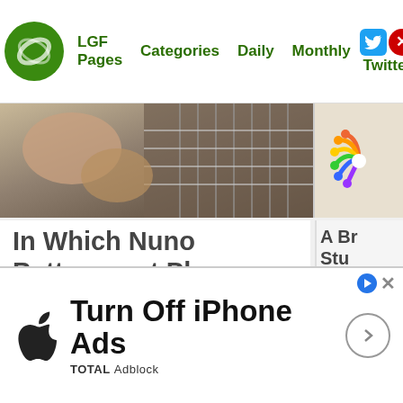Home  LGF Pages  Categories  Daily  Monthly  Twitter
[Figure (photo): Partial image of hands playing a guitar, fretboard visible]
[Figure (logo): NBC peacock multicolor logo]
In Which Nuno Bettencourt Plays “Midnight Express” on a Telecaster That’s Not a Real Telecaster
Charles Johnson  💬 342
Music  6 days, 3 hours ago • Views: 13,710
[Figure (screenshot): Cookie consent popup: This website is using cookies. We use them to give you the best experience. If you continue using our website, we’ll assume]
[Figure (screenshot): Advertisement banner: Apple logo, Turn Off iPhone Ads, TOTAL Adblock]